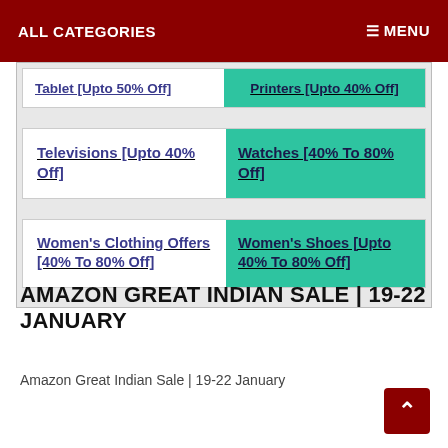ALL CATEGORIES   MENU
Tablet [Upto 50% Off]
Printers [Upto 40% Off]
Televisions [Upto 40% Off]
Watches [40% To 80% Off]
Women's Clothing Offers [40% To 80% Off]
Women's Shoes [Upto 40% To 80% Off]
AMAZON GREAT INDIAN SALE | 19-22 JANUARY
Amazon Great Indian Sale | 19-22 January